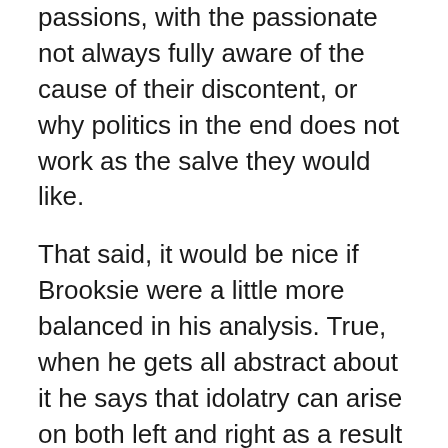passions, with the passionate not always fully aware of the cause of their discontent, or why politics in the end does not work as the salve they would like.
That said, it would be nice if Brooksie were a little more balanced in his analysis. True, when he gets all abstract about it he says that idolatry can arise on both left and right as a result of the fraying of the cultural fabric. But when he discusses the matter in concrete terms the anomie is happening in middle America and the morbid symptoms are seen among Trump supporters. Is it too much to ask Brooksie to level with his own sophisticated audience that they are in this thing too?
Indeed a case can be made that many of the ailments afflicting middle America have come at the hands of smartypants who are willfully blind to the effects of their own actions and preferences on others. Am I